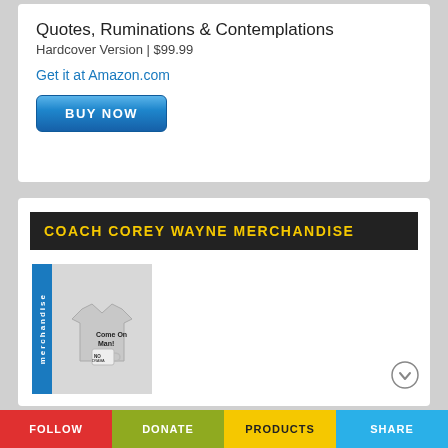Quotes, Ruminations & Contemplations
Hardcover Version | $99.99
Get it at Amazon.com
[Figure (other): Blue BUY NOW button]
COACH COREY WAYNE MERCHANDISE
[Figure (other): Merchandise image showing a t-shirt with 'Come On Man!' text and a mug with 'NO DRAMA ALLOWED', with a blue 'merchandise' tab on the left]
[Figure (logo): Teespring logo with cursive emblem and sans-serif Teespring text]
T-Shirts & Mugs
FOLLOW   DONATE   PRODUCTS   SHARE